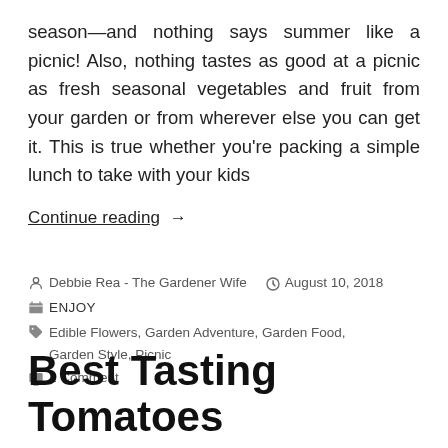season—and nothing says summer like a picnic! Also, nothing tastes as good at a picnic as fresh seasonal vegetables and fruit from your garden or from wherever else you can get it. This is true whether you're packing a simple lunch to take with your kids
Continue reading →
Debbie Rea - The Gardener Wife   August 10, 2018   ENJOY   Edible Flowers, Garden Adventure, Garden Food, Garden Style, Picnic   1 Comment
Best Tasting Tomatoes